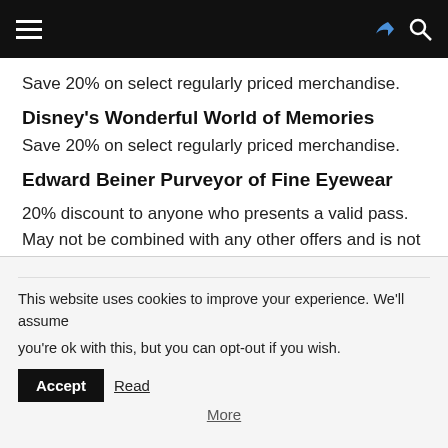navigation bar with hamburger menu, share icon, and search icon
Save 20% on select regularly priced merchandise.
Disney's Wonderful World of Memories
Save 20% on select regularly priced merchandise.
Edward Beiner Purveyor of Fine Eyewear
20% discount to anyone who presents a valid pass. May not be combined with any other offers and is not valid on sale items.
This website uses cookies to improve your experience. We'll assume you're ok with this, but you can opt-out if you wish. Accept Read More